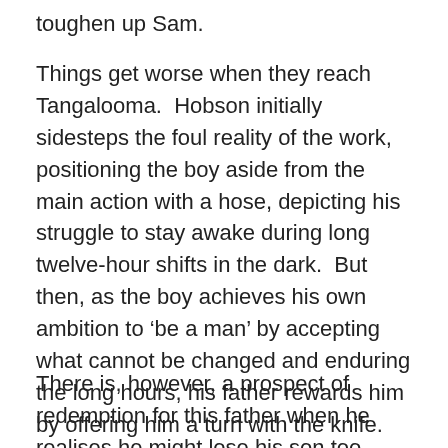toughen up Sam.
Things get worse when they reach Tangalooma.  Hobson initially sidesteps the foul reality of the work, positioning the boy aside from the main action with a hose, depicting his struggle to stay awake during long twelve-hour shifts in the dark.  But then, as the boy achieves his own ambition to ‘be a man’ by accepting what cannot be changed and enduring the long hours, his father rewards him by offering him a turn with the knife.  By then, heavily invested in the fate of this child, I could not stop reading, but I skipped descriptive passages even though Hobson had made it clear that the whales were dead long before they were brought to the station to be butchered.
There is, however, a prospect of redemption for this father when he realises he might lose his son too.  Both father